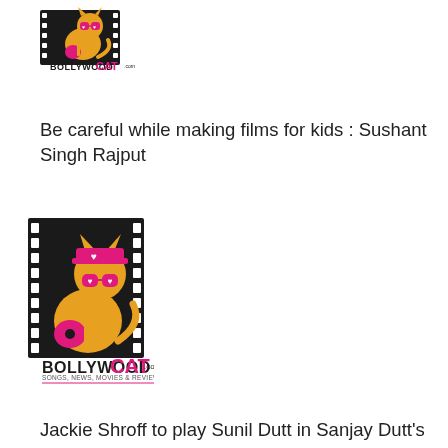[Figure (logo): BollywoodCat.com logo - small version at top of page]
Be careful while making films for kids : Sushant Singh Rajput
[Figure (logo): BollywoodCat.com logo - full size in middle of page]
Jackie Shroff to play Sunil Dutt in Sanjay Dutt's biopic
[Figure (logo): BollywoodCat.com logo - partial at bottom of page]